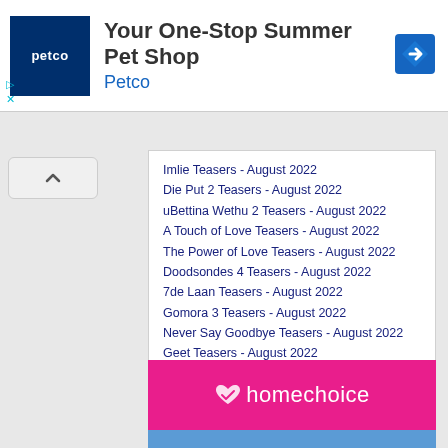[Figure (screenshot): Petco advertisement banner with logo and arrow icon]
Imlie Teasers - August 2022
Die Put 2 Teasers - August 2022
uBettina Wethu 2 Teasers - August 2022
A Touch of Love Teasers - August 2022
The Power of Love Teasers - August 2022
Doodsondes 4 Teasers - August 2022
7de Laan Teasers - August 2022
Gomora 3 Teasers - August 2022
Never Say Goodbye Teasers - August 2022
Geet Teasers - August 2022
Click HERE for all August teasers.
Click HERE for ALL teasers!
[Figure (logo): homechoice pink banner logo]